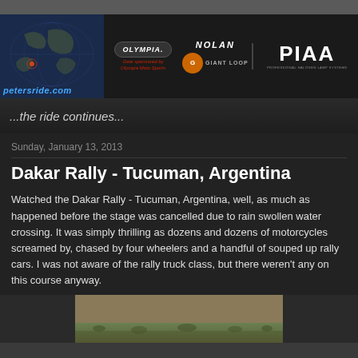[Figure (screenshot): petersride.com website header with world map graphic on left, sponsor logos (Olympia Moto Sports, Nolan, Giant Loop, PIAA) on right, on dark background]
...the ride continues...
Sunday, January 13, 2013
Dakar Rally - Tucuman, Argentina
Watched the Dakar Rally - Tucuman, Argentina, well, as much as happened before the stage was cancelled due to rain swollen water crossing. It was simply thrilling as dozens and dozens of motorcycles screamed by, chased by four wheelers and a handful of souped up rally cars. I was not aware of the rally truck class, but there weren't any on this course anyway.
[Figure (photo): Partial photo at bottom showing desert/scrubland terrain from the Dakar Rally]